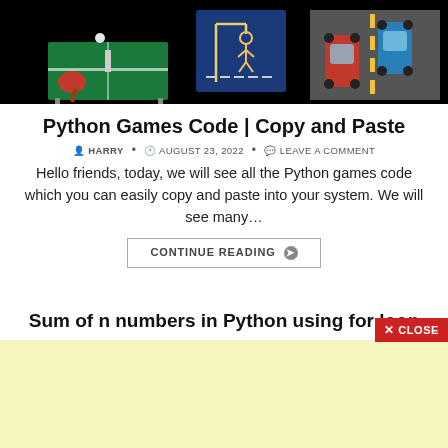[Figure (illustration): Black background hero image showing three Python game illustrations: a ping pong table with paddles, a hangman game on blue background, and a top-down car racing game with red and blue cars on a road.]
Python Games Code | Copy and Paste
HARRY • AUGUST 23, 2022 • LEAVE A COMMENT
Hello friends, today, we will see all the Python games code which you can easily copy and paste into your system. We will see many…
CONTINUE READING ❯
Sum of n numbers in Python using for loop
HARRY • AUGUST 22, 2022
[Figure (other): Light yellow advertisement area at the bottom of the page.]